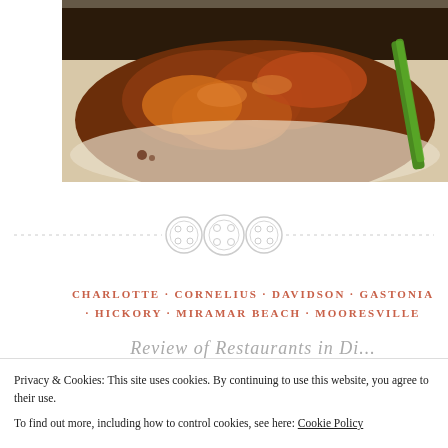[Figure (photo): Close-up food photo showing glazed/sauced chicken wings or meat pieces on a white plate with a green vegetable (scallion or celery)]
[Figure (illustration): Decorative horizontal divider with three button-like circular icons in the center, flanked by dashed/dotted lines extending to the edges]
CHARLOTTE · CORNELIUS · DAVIDSON · GASTONIA · HICKORY · MIRAMAR BEACH · MOORESVILLE
Review of Restaurants in...
Privacy & Cookies: This site uses cookies. By continuing to use this website, you agree to their use. To find out more, including how to control cookies, see here: Cookie Policy
Close and accept